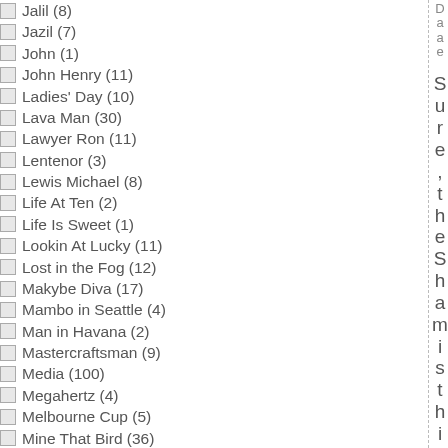Jalil (8)
Jazil (7)
John (1)
John Henry (11)
Ladies' Day (10)
Lava Man (30)
Lawyer Ron (11)
Lentenor (3)
Lewis Michael (8)
Life At Ten (2)
Life Is Sweet (1)
Lookin At Lucky (11)
Lost in the Fog (12)
Makybe Diva (17)
Mambo in Seattle (4)
Man in Havana (2)
Mastercraftsman (9)
Media (100)
Megahertz (4)
Melbourne Cup (5)
Mine That Bird (36)
Miss Andretti (13)
Miss Finland (4)
Monastic Springs (2)
Montmartre (2)
Mucho Macho Man (2)
Munnings (12)
Daae Sure, the Shamis this weekend